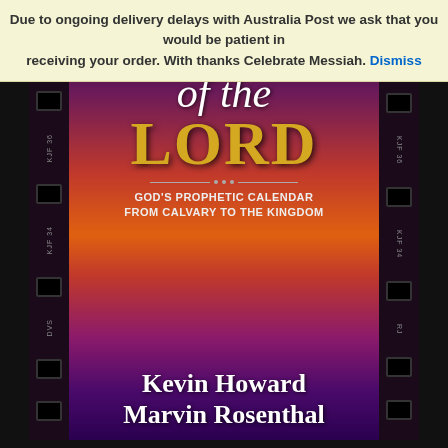Due to ongoing delivery delays with Australia Post we ask that you would be patient in receiving your order. With thanks Celebrate Messiah. Dismiss
[Figure (photo): Book cover of 'Feasts of the Lord' by Kevin Howard and Marvin Rosenthal. The cover features a dramatic sunset sky in purples, reds, and oranges. The title 'Feasts of the Lord' is displayed prominently with 'of the' in white italic script and 'LORD' in large gold serif letters. The subtitle reads 'GOD'S PROPHETIC CALENDAR FROM CALVARY TO THE KINGDOM'. Authors' names Kevin Howard and Marvin Rosenthal appear at the bottom in large white serif text. The cover is bordered by film strip designs on both sides.]